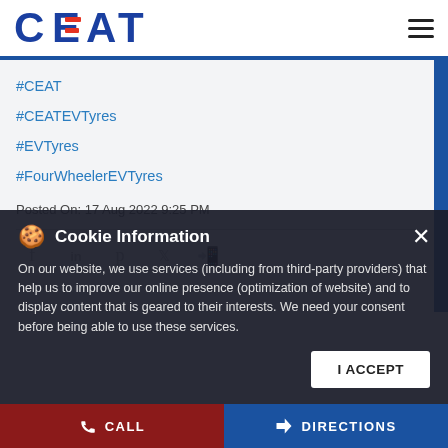[Figure (logo): CEAT logo in blue and red]
#CEAT
#CEATEVTyres
#EVTyres
#FourWheelerEVTyres
Posted On: 17 Aug 2022 9:25 PM
[Figure (infographic): Social share icons: Facebook, LinkedIn, Pinterest, Twitter, WhatsApp]
Cookie Information
On our website, we use services (including from third-party providers) that help us to improve our online presence (optimization of website) and to display content that is geared to their interests. We need your consent before being able to use these services.
CALL   DIRECTIONS